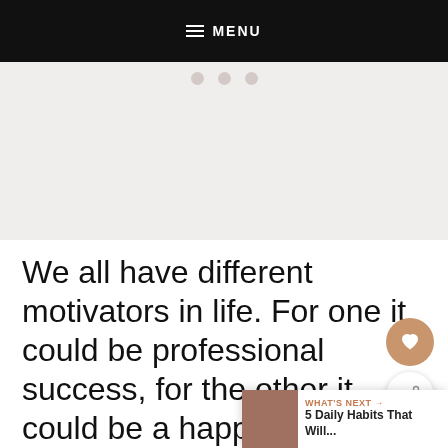MENU
[Figure (photo): Light pinkish-gray image area below menu bar with faint social media icons at top]
We all have different motivators in life. For one it could be professional success, for the other it could be a happy personal life. There is never an exact ratio true for all.
WHAT'S NEXT → 5 Daily Habits That Will...